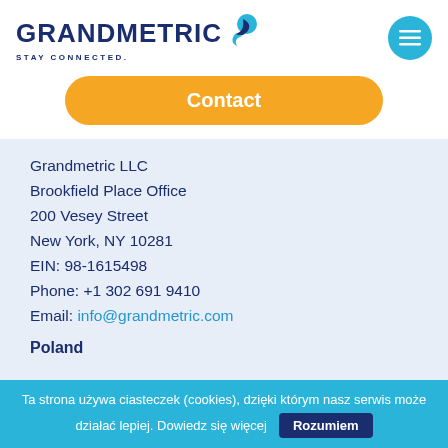[Figure (logo): Grandmetric logo with blue text GRANDMETRIC, a blue arrow icon, and tagline STAY CONNECTED.]
[Figure (other): Teal circular menu/hamburger button icon in top right corner]
Contact
Grandmetric LLC
Brookfield Place Office
200 Vesey Street
New York, NY 10281
EIN: 98-1615498
Phone: +1 302 691 9410
Email: info@grandmetric.com
Poland
Ta strona używa ciasteczek (cookies), dzięki którym nasz serwis może działać lepiej. Dowiedz się więcej  Rozumiem